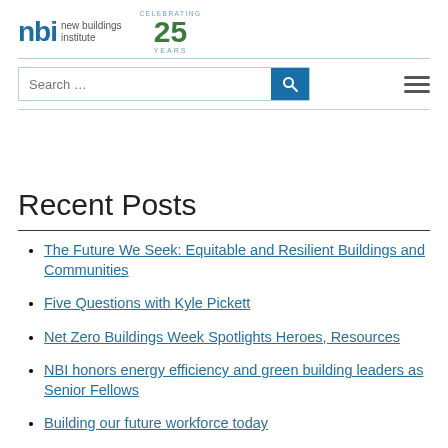[Figure (logo): NBI New Buildings Institute logo with 'nbi' in blue bold text and 'new buildings institute' label, alongside a 'Celebrating 25 Years' badge in green and blue]
Recent Posts
The Future We Seek: Equitable and Resilient Buildings and Communities
Five Questions with Kyle Pickett
Net Zero Buildings Week Spotlights Heroes, Resources
NBI honors energy efficiency and green building leaders as Senior Fellows
Building our future workforce today